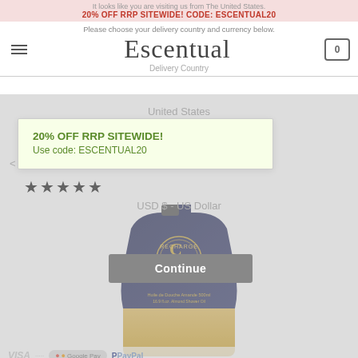It looks like you are visiting us from The United States. 20% OFF RRP SITEWIDE! CODE: ESCENTUAL20
Please choose your delivery country and currency below. Escentual 0 Delivery Country
United States
20% OFF RRP SITEWIDE! Use code: ESCENTUAL20
USD $ - US Dollar
Continue
L'OCCITANE
Almond Cleansing and Softening Shower Oil Refill 500ml
[Figure (other): Five black star rating icons]
[Figure (photo): L'Occitane Almond Shower Oil Refill 500ml product image - a dark blue pouch with golden/yellow liquid visible at bottom, branded with Recharge Refill text]